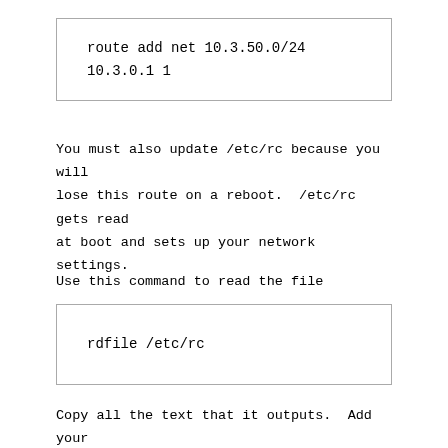You must also update /etc/rc because you will lose this route on a reboot.  /etc/rc gets read at boot and sets up your network settings.
Use this command to read the file
Copy all the text that it outputs.  Add your route command under your default gateway.  It